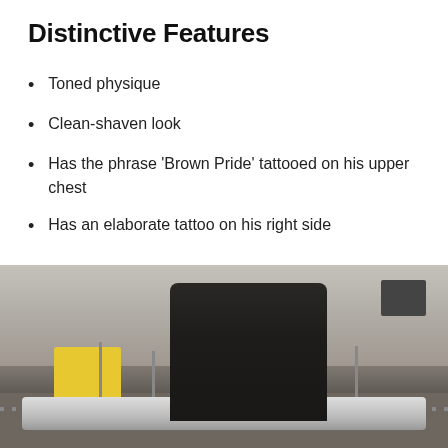Distinctive Features
Toned physique
Clean-shaven look
Has the phrase ‘Brown Pride’ tattooed on his upper chest
Has an elaborate tattoo on his right side
[Figure (photo): A muscular man with a shaved head wearing a dark t-shirt, standing with arms crossed in front of a white car at what appears to be a racetrack or industrial area, with signage and light poles visible in the background.]